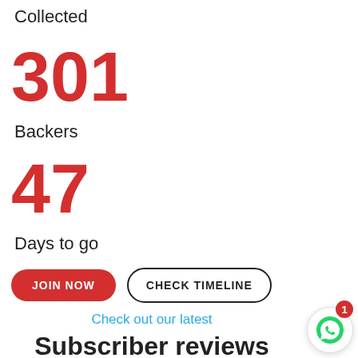Collected
301
Backers
47
Days to go
JOIN NOW
CHECK TIMELINE
Check out our latest
Subscriber reviews